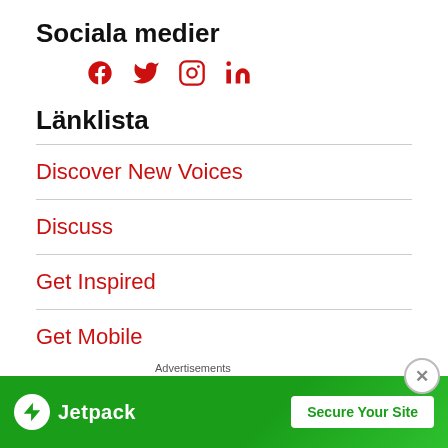Sociala medier
[Figure (other): Social media icons: Facebook, Twitter, Instagram, LinkedIn in red]
Länklista
Discover New Voices
Discuss
Get Inspired
Get Mobile
[Figure (screenshot): Partial search box visible at bottom]
Advertisements
[Figure (other): Jetpack advertisement banner with 'Secure Your Site' button on green background]